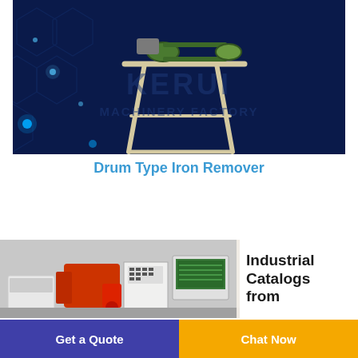[Figure (photo): Drum Type Iron Remover machine on dark navy blue background with hexagonal pattern and glowing blue dots, overlaid with 'KERUI MACHINERY FACTORY' watermark text]
Drum Type Iron Remover
[Figure (photo): Industrial machinery catalog image showing various industrial machines in red and grey, positioned left side of a banner. Right side shows bold black text: 'Industrial Catalogs from']
Get a Quote | Chat Now